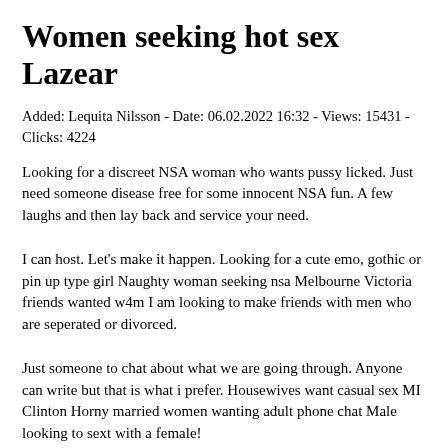Women seeking hot sex Lazear
Added: Lequita Nilsson - Date: 06.02.2022 16:32 - Views: 15431 - Clicks: 4224
Looking for a discreet NSA woman who wants pussy licked. Just need someone disease free for some innocent NSA fun. A few laughs and then lay back and service your need.
I can host. Let's make it happen. Looking for a cute emo, gothic or pin up type girl Naughty woman seeking nsa Melbourne Victoria friends wanted w4m I am looking to make friends with men who are seperated or divorced.
Just someone to chat about what we are going through. Anyone can write but that is what i prefer. Housewives want casual sex MI Clinton Horny married women wanting adult phone chat Male looking to sext with a female!